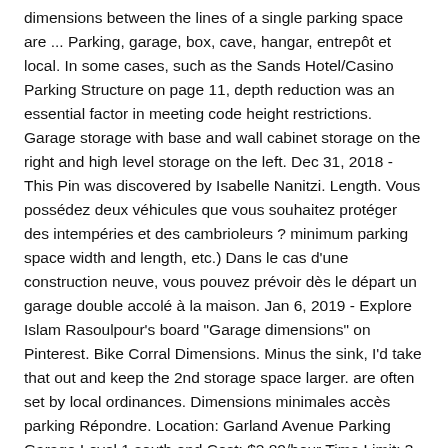dimensions between the lines of a single parking space are ... Parking, garage, box, cave, hangar, entrepôt et local. In some cases, such as the Sands Hotel/Casino Parking Structure on page 11, depth reduction was an essential factor in meeting code height restrictions. Garage storage with base and wall cabinet storage on the right and high level storage on the left. Dec 31, 2018 - This Pin was discovered by Isabelle Nanitzi. Length. Vous possédez deux véhicules que vous souhaitez protéger des intempéries et des cambrioleurs ? minimum parking space width and length, etc.) Dans le cas d'une construction neuve, vous pouvez prévoir dès le départ un garage double accolé à la maison. Jan 6, 2019 - Explore Islam Rasoulpour's board "Garage dimensions" on Pinterest. Bike Corral Dimensions. Minus the sink, I'd take that out and keep the 2nd storage space larger. are often set by local ordinances. Dimensions minimales accès parking Répondre. Location: Garland Avenue Parking Garage Level 1 south end Cost: $2.80/hour Time Limit: 3 hours Additional Fees: